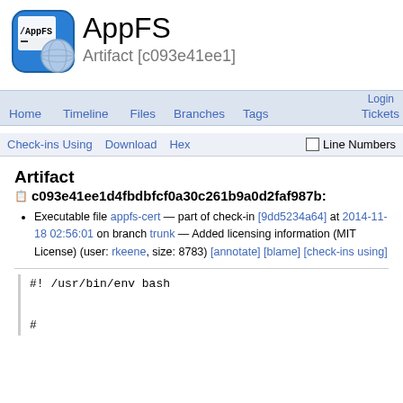[Figure (logo): AppFS application logo: blue rounded square icon with /AppFS text and globe overlay]
AppFS
Artifact [c093e41ee1]
Home  Timeline  Files  Branches  Tags  Login  Tickets
Check-ins Using  Download  Hex  Line Numbers
Artifact
c093e41ee1d4fbdbfcf0a30c261b9a0d2faf987b:
Executable file appfs-cert — part of check-in [9dd5234a64] at 2014-11-18 02:56:01 on branch trunk — Added licensing information (MIT License) (user: rkeene, size: 8783) [annotate] [blame] [check-ins using]
#! /usr/bin/env bash

#